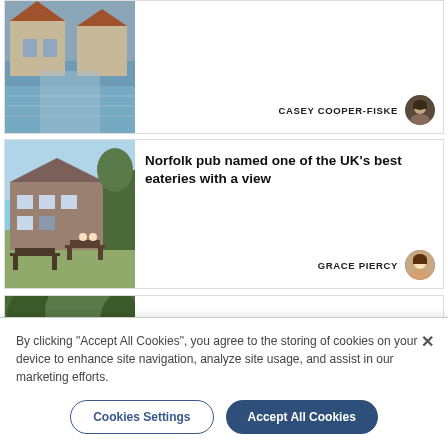[Figure (photo): Flooded street with houses and water covering road]
CASEY COOPER-FISKE
[Figure (photo): Norfolk pub exterior with picnic tables on grass]
Norfolk pub named one of the UK's best eateries with a view
GRACE PIERCY
[Figure (photo): Wooded hillside path]
Landowner to close path after abuse
By clicking "Accept All Cookies", you agree to the storing of cookies on your device to enhance site navigation, analyze site usage, and assist in our marketing efforts.
Cookies Settings
Accept All Cookies